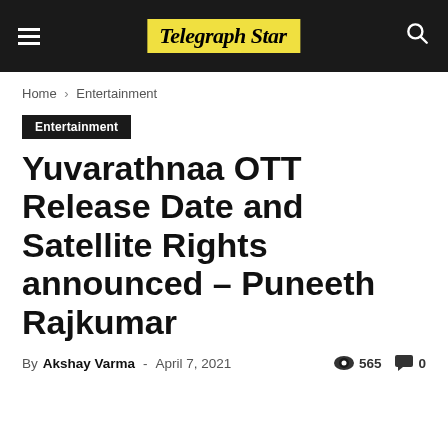Telegraph Star
Home › Entertainment
Entertainment
Yuvarathnaa OTT Release Date and Satellite Rights announced – Puneeth Rajkumar
By Akshay Varma - April 7, 2021  565  0